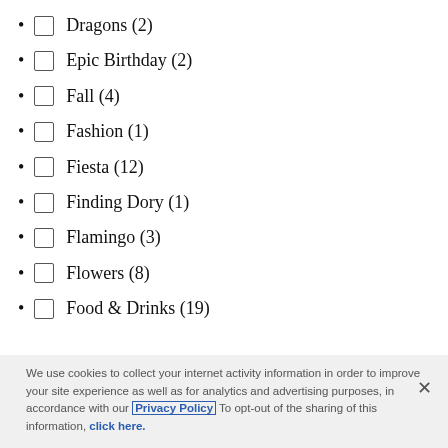Dragons (2)
Epic Birthday (2)
Fall (4)
Fashion (1)
Fiesta (12)
Finding Dory (1)
Flamingo (3)
Flowers (8)
Food & Drinks (19)
We use cookies to collect your internet activity information in order to improve your site experience as well as for analytics and advertising purposes, in accordance with our Privacy Policy To opt-out of the sharing of this information, click here.